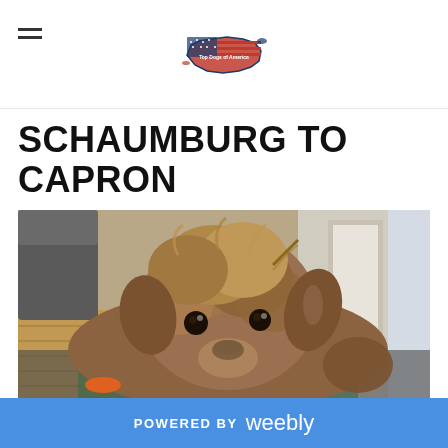Top Dogs of America logo and navigation
SCHAUMBURG TO CAPRON
7/11/2022   0 Comments
[Figure (photo): A small fluffy brown terrier puppy lying on a blanket, looking at the camera with big dark eyes. Background shows a hardwood floor living room.]
POWERED BY weebly